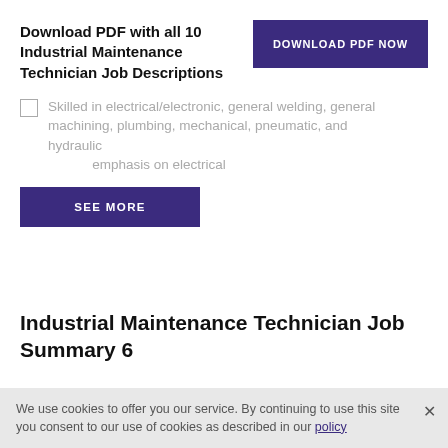Download PDF with all 10 Industrial Maintenance Technician Job Descriptions
[Figure (other): DOWNLOAD PDF NOW button (dark purple)]
Skilled in electrical/electronic, general welding, general machining, plumbing, mechanical, pneumatic, and hydraulic ... emphasis on electrical
[Figure (other): SEE MORE button (dark purple)]
Industrial Maintenance Technician Job Summary 6
The Industrial Maintenance Technician is responsible for timely completion of routine repairs, maintenance requests, and work order throughout the facility.
We use cookies to offer you our service. By continuing to use this site you consent to our use of cookies as described in our policy